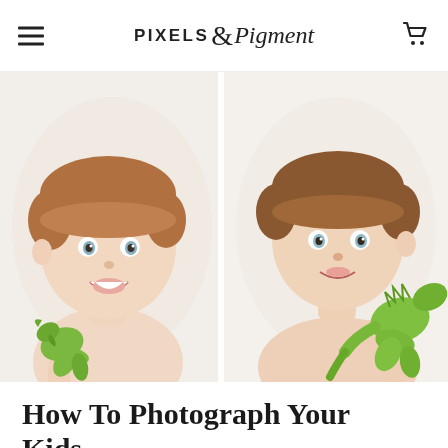PIXELS & Pigment
[Figure (photo): Two young boys (toddlers/preschool age) photographed against a white background, both shirtless and smiling or with calm expressions, each holding green toy dinosaurs. Studio-style portrait photography.]
How To Photograph Your Kids